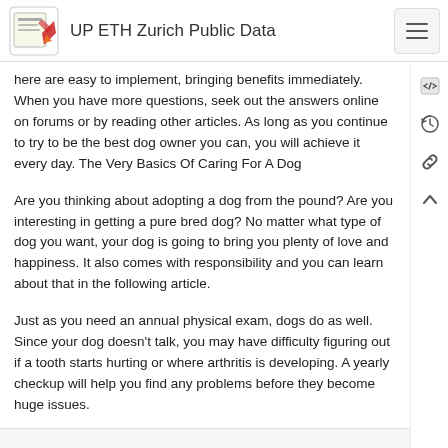UP ETH Zurich Public Data
here are easy to implement, bringing benefits immediately. When you have more questions, seek out the answers online on forums or by reading other articles. As long as you continue to try to be the best dog owner you can, you will achieve it every day. The Very Basics Of Caring For A Dog
Are you thinking about adopting a dog from the pound? Are you interesting in getting a pure bred dog? No matter what type of dog you want, your dog is going to bring you plenty of love and happiness. It also comes with responsibility and you can learn about that in the following article.
Just as you need an annual physical exam, dogs do as well. Since your dog doesn't talk, you may have difficulty figuring out if a tooth starts hurting or where arthritis is developing. A yearly checkup will help you find any problems before they become huge issues.
When you take your dog on vacation with you, get a snapshot of them for your phone. You'll be prepared to